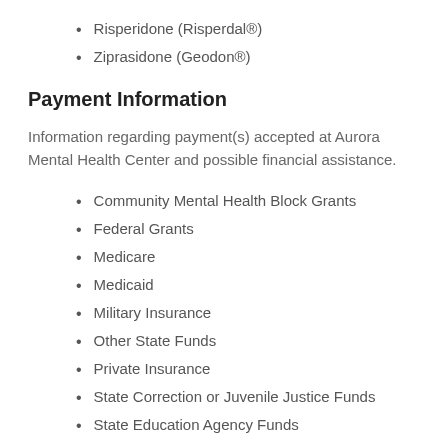Risperidone (Risperdal®)
Ziprasidone (Geodon®)
Payment Information
Information regarding payment(s) accepted at Aurora Mental Health Center and possible financial assistance.
Community Mental Health Block Grants
Federal Grants
Medicare
Medicaid
Military Insurance
Other State Funds
Private Insurance
State Correction or Juvenile Justice Funds
State Education Agency Funds